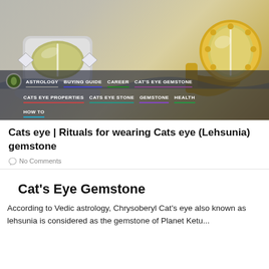[Figure (photo): Two cat's eye gemstone rings on a decorative background — a silver signet ring with an oval yellowish-green cat's eye stone, and a gold ring with a large oval golden cat's eye stone set in a claw setting. Navigation tags overlay the bottom portion of the image including: ASTROLOGY, BUYING GUIDE, CAREER, CAT'S EYE GEMSTONE, CATS EYE PROPERTIES, CATS EYE STONE, GEMSTONE, HEALTH, HOW TO]
Cats eye | Rituals for wearing Cats eye (Lehsunia) gemstone
No Comments
Cat's Eye Gemstone
According to Vedic astrology, Chrysoberyl Cat's eye also known as lehsunia is considered as the gemstone of Planet Ketu...